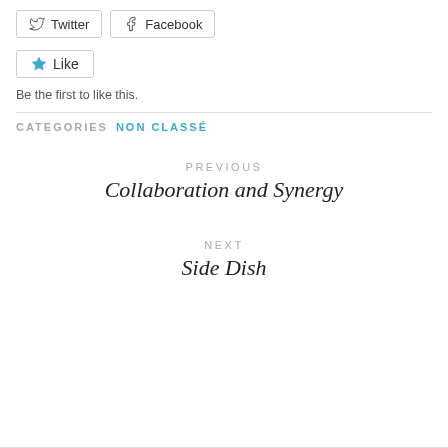[Figure (screenshot): Twitter and Facebook share buttons]
[Figure (screenshot): Like button with star icon]
Be the first to like this.
CATEGORIES  NON CLASSÉ
PREVIOUS
Collaboration and Synergy
NEXT
Side Dish